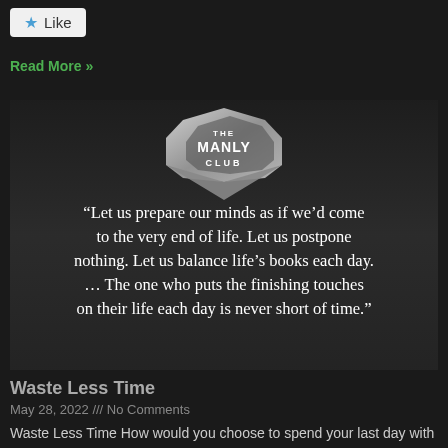Like
Read More »
[Figure (photo): Dark background image featuring The Manly Club badge/logo at top, with white serif text quote: "Let us prepare our minds as if we'd come to the very end of life. Let us postpone nothing. Let us balance life's books each day. … The one who puts the finishing touches on their life each day is never short of time."]
Waste Less Time
May 28, 2022 /// No Comments
Waste Less Time How would you choose to spend your last day with your spouse, parent, or best friend if you knew tomorrow was